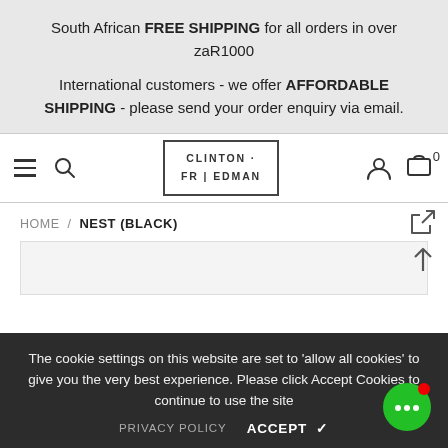South African FREE SHIPPING for all orders in over zaR1000
International customers - we offer AFFORDABLE SHIPPING - please send your order enquiry via email.
[Figure (screenshot): Navigation bar with hamburger menu, search icon, Clinton Friedman logo in bordered box, user icon, and cart icon with 0]
HOME / NEST (BLACK)
The cookie settings on this website are set to 'allow all cookies' to give you the very best experience. Please click Accept Cookies to continue to use the site
PRIVACY POLICY   ACCEPT ✓